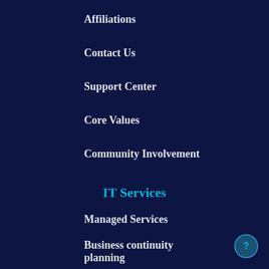Affiliations
Contact Us
Support Center
Core Values
Community Involvement
IT Services
Managed Services
Business continuity planning
IT Consulting
Virtualization
Email / Spam Protection
Application and Database